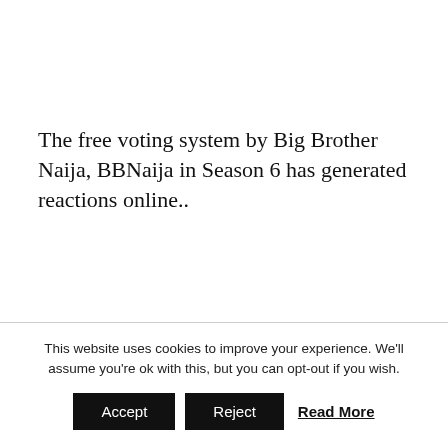The free voting system by Big Brother Naija, BBNaija in Season 6 has generated reactions online..
This website uses cookies to improve your experience. We'll assume you're ok with this, but you can opt-out if you wish.